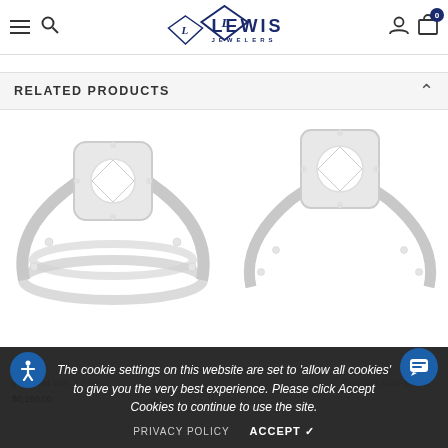Lewis Jewelers — navigation header with hamburger menu, search, logo, user icon, and cart (0 items)
RELATED PRODUCTS
[Figure (photo): Diamond halo engagement ring set with wedding band, displayed on white background]
[Figure (photo): Diamond halo engagement ring (semi-mount) displayed on white background]
dding Set With 1.0 Re...
Diamond Semi-Mount...
$0,100.00
The cookie settings on this website are set to 'allow all cookies' to give you the very best experience. Please click Accept Cookies to continue to use the site.
PRIVACY POLICY   ACCEPT ✔